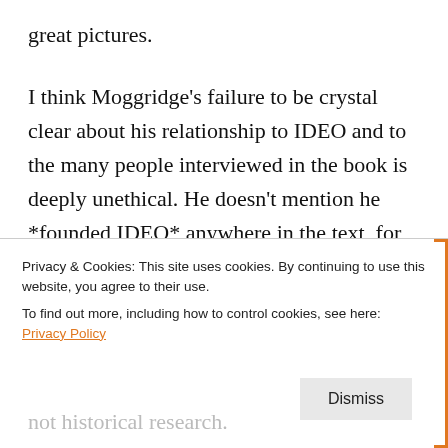great pictures.
I think Moggridge's failure to be crystal clear about his relationship to IDEO and to the many people interviewed in the book is deeply unethical. He doesn't mention he *founded IDEO* anywhere in the text, for pete's sake! Come on. I'm ashamed of MIT Press for allowing that to pass.
That he works so hard to make everything here
Privacy & Cookies: This site uses cookies. By continuing to use this website, you agree to their use.
To find out more, including how to control cookies, see here: Privacy Policy
Dismiss
not historical research.